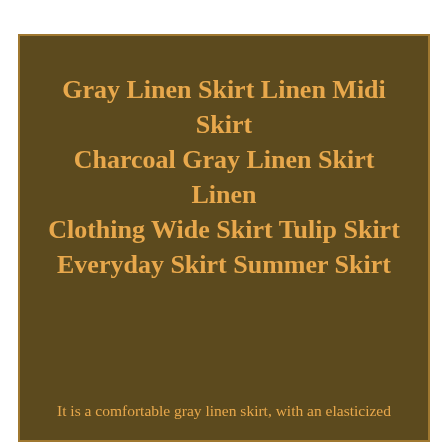Gray Linen Skirt Linen Midi Skirt Charcoal Gray Linen Skirt Linen Clothing Wide Skirt Tulip Skirt Everyday Skirt Summer Skirt
It is a comfortable gray linen skirt, with an elasticized